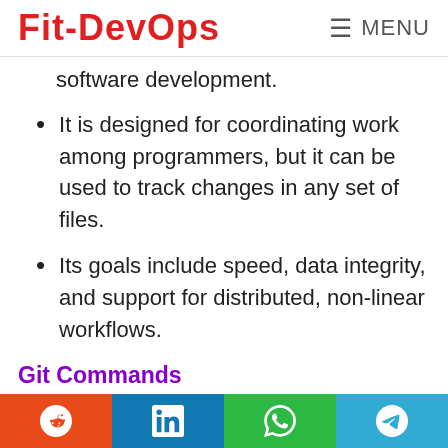Fit-DevOps  ≡ MENU
software development.
It is designed for coordinating work among programmers, but it can be used to track changes in any set of files.
Its goals include speed, data integrity, and support for distributed, non-linear workflows.
Git Commands